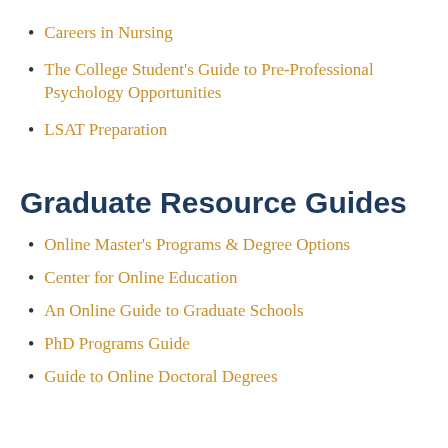Careers in Nursing
The College Student's Guide to Pre-Professional Psychology Opportunities
LSAT Preparation
Graduate Resource Guides
Online Master's Programs & Degree Options
Center for Online Education
An Online Guide to Graduate Schools
PhD Programs Guide
Guide to Online Doctoral Degrees